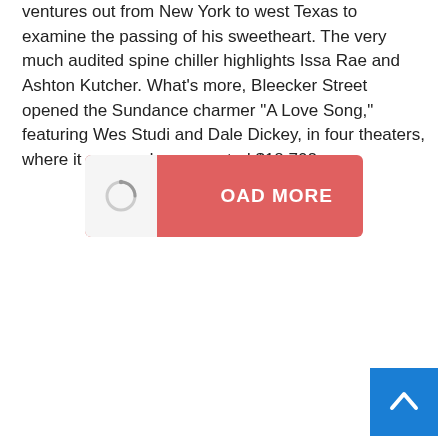ventures out from New York to west Texas to examine the passing of his sweetheart. The very much audited spine chiller highlights Issa Rae and Ashton Kutcher. What’s more, Bleecker Street opened the Sundance charmer “A Love Song,” featuring Wes Studi and Dale Dickey, in four theaters, where it procured an expected $18,702.
[Figure (other): A salmon/coral colored button labeled 'LOAD MORE' with a loading spinner icon on the left side]
[Figure (other): A blue 'back to top' button with an upward chevron arrow in the bottom right corner]